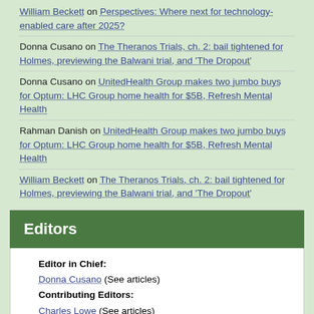William Beckett on Perspectives: Where next for technology-enabled care after 2025?
Donna Cusano on The Theranos Trials, ch. 2: bail tightened for Holmes, previewing the Balwani trial, and 'The Dropout'
Donna Cusano on UnitedHealth Group makes two jumbo buys for Optum: LHC Group home health for $5B, Refresh Mental Health
Rahman Danish on UnitedHealth Group makes two jumbo buys for Optum: LHC Group home health for $5B, Refresh Mental Health
William Beckett on The Theranos Trials, ch. 2: bail tightened for Holmes, previewing the Balwani trial, and 'The Dropout'
Editors
Editor in Chief: Donna Cusano (See articles)
Contributing Editors: Charles Lowe (See articles)
Chrys Meewella (See articles)
Founder: Steve Hards
Most Popular Recent Items